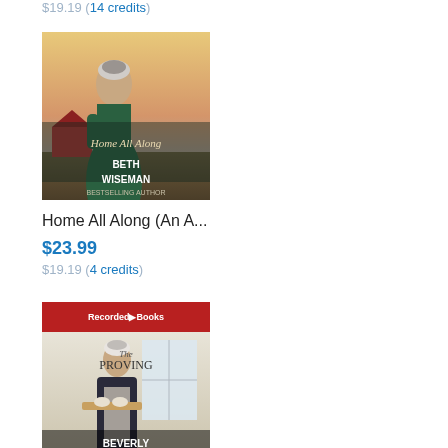$19.19 (14 credits)
[Figure (photo): Book cover of 'Home All Along' by Beth Wiseman — An Amish Journey novel. Shows an Amish woman in profile wearing a prayer covering and green dress against a sunset sky background.]
Home All Along (An A...
$23.99
$19.19 (4 credits)
[Figure (photo): Book cover of 'The Proving' by Beverly Lewis, published by Recorded Books. Shows an Amish woman in dark dress holding a tray in a bright interior setting.]